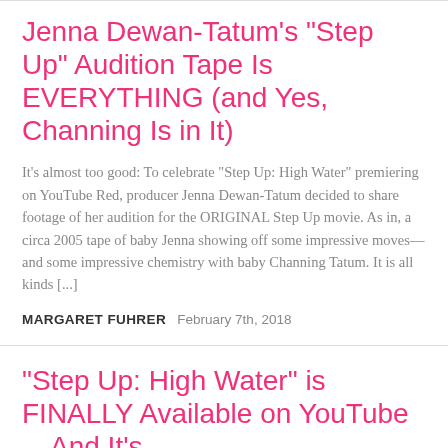Jenna Dewan-Tatum's "Step Up" Audition Tape Is EVERYTHING (and Yes, Channing Is in It)
It's almost too good: To celebrate “Step Up: High Water” premiering on YouTube Red, producer Jenna Dewan-Tatum decided to share footage of her audition for the ORIGINAL Step Up movie. As in, a circa 2005 tape of baby Jenna showing off some impressive moves—and some impressive chemistry with baby Channing Tatum. It is all kinds [...]
MARGARET FUHRER   February 7th, 2018
"Step Up: High Water" is FINALLY Available on YouTube—And It's